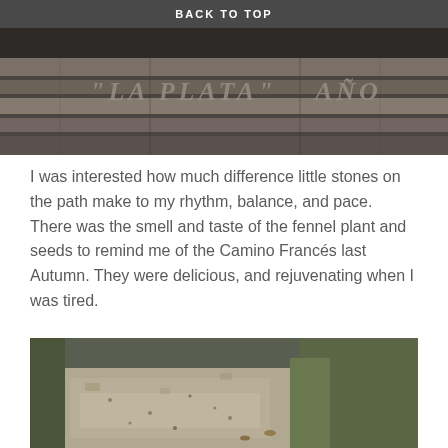BACK TO TOP
[Figure (photo): Stone pavement with engraved text reading 'LA PLATA' and 'AÑO', photographed from above at an angle. Stone tiles in alternating light and dark horizontal bands.]
I was interested how much difference little stones on the path make to my rhythm, balance, and pace. There was the smell and taste of the fennel plant and seeds to remind me of the Camino Francés last Autumn. They were delicious, and rejuvenating when I was tired.
[Figure (photo): Dirt path on the Camino with sparse dry grass and green grass on the right side, small stones and scattered leaves visible on the ground.]